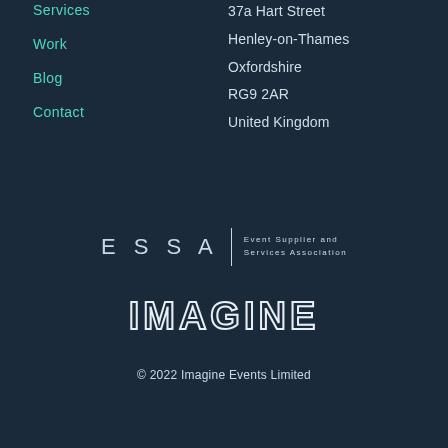Services
Work
Blog
Contact
37a Hart Street
Henley-on-Thames
Oxfordshire
RG9 2AR
United Kingdom
[Figure (logo): ESSA - Event Supplier and Services Association logo with vertical divider]
[Figure (logo): IMAGINE Events logo in outline/hollow text style]
© 2022 Imagine Events Limited